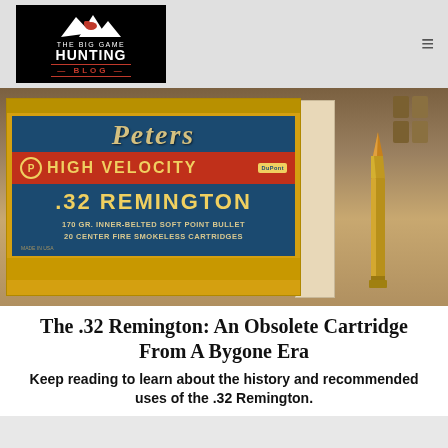The Big Game Hunting Blog
[Figure (photo): Vintage Peters High Velocity .32 Remington ammunition box (blue, yellow, and red) with 170 gr. Inner-Belted Soft Point Bullet, 20 Center Fire Smokeless Cartridges, shown with a single brass rifle cartridge standing upright beside the box on a wooden surface.]
The .32 Remington: An Obsolete Cartridge From A Bygone Era
Keep reading to learn about the history and recommended uses of the .32 Remington.